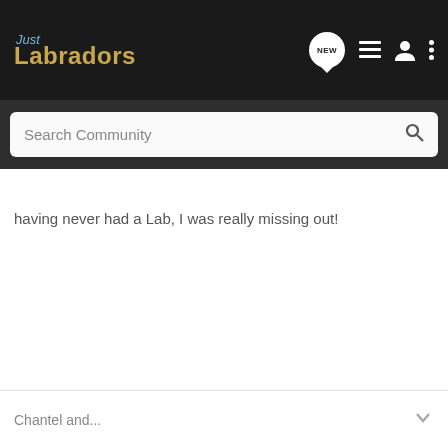Just Labradors
Search Community
having never had a Lab, I was really missing out!
Chantel and...